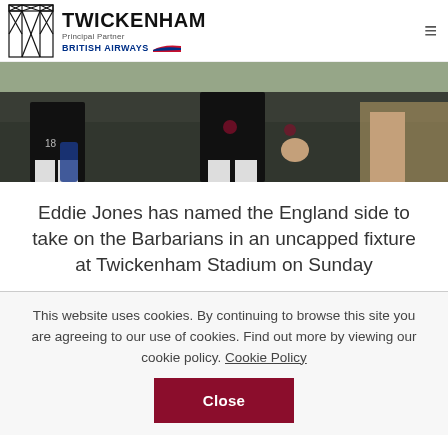[Figure (logo): Twickenham logo with T graphic and British Airways principal partner branding]
[Figure (photo): Rugby players in black England shorts standing on pitch, close-up of legs and shorts with rose emblem]
Eddie Jones has named the England side to take on the Barbarians in an uncapped fixture at Twickenham Stadium on Sunday
This website uses cookies. By continuing to browse this site you are agreeing to our use of cookies. Find out more by viewing our cookie policy. Cookie Policy
Close